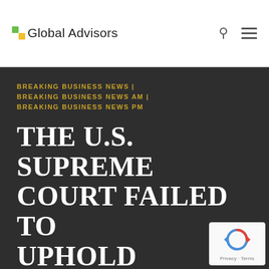Global Advisors
BREAKING BUSINESS NEWS | BREAKING BUSINESS NEWS AM | BREAKING BUSINESS NEWS PM
THE U.S. SUPREME COURT FAILED TO UPHOLD AMERICAN IDEALS OF LIBERTY AND EQUALITY IN